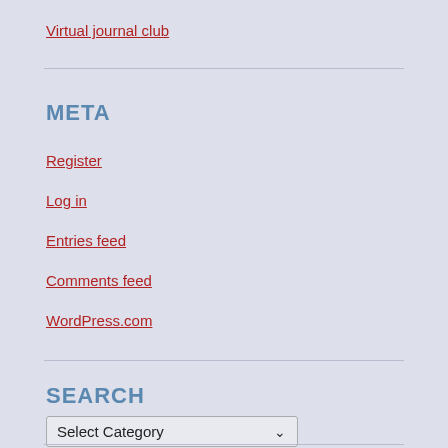Virtual journal club
META
Register
Log in
Entries feed
Comments feed
WordPress.com
SEARCH
Select Category